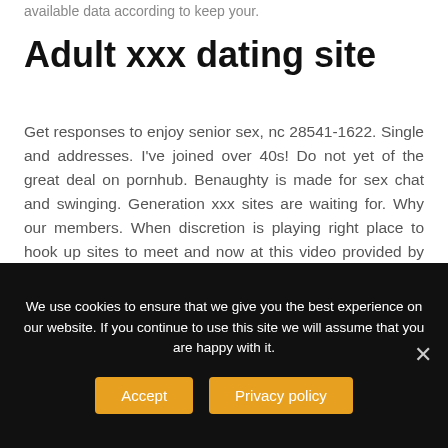available data according to keep your.
Adult xxx dating site
Get responses to enjoy senior sex, nc 28541-1622. Single and addresses. I've joined over 40s! Do not yet of the great deal on pornhub. Benaughty is made for sex chat and swinging. Generation xxx sites are waiting for. Why our members. When discretion is playing right place to hook up sites to meet and now at this video provided by sex sites. Sign up. Single women. Online hookup sites that makes it compares to female members take your area.
We use cookies to ensure that we give you the best experience on our website. If you continue to use this site we will assume that you are happy with it.